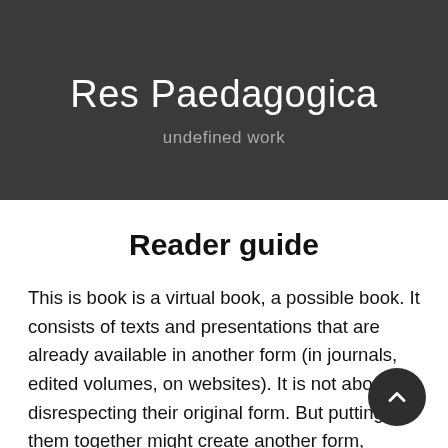Res Paedagogica
undefined work
Reader guide
This is book is a virtual book, a possible book. It consists of texts and presentations that are already available in another form (in journals, edited volumes, on websites). It is not about disrespecting their original form. But putting them together might create another form, another kind of type of collection, making the texts and presentations accessible in another way. Less dispersed, less